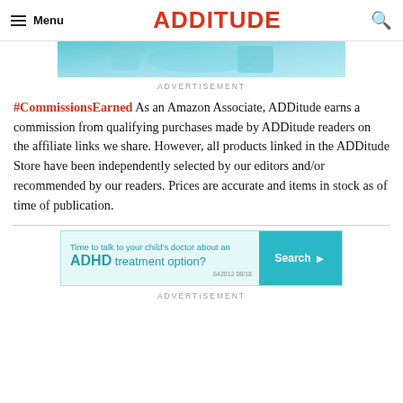Menu | ADDitude
[Figure (photo): Cropped image showing a person in teal/blue medical or casual clothing, top portion visible]
ADVERTISEMENT
#CommissionsEarned As an Amazon Associate, ADDitude earns a commission from qualifying purchases made by ADDitude readers on the affiliate links we share. However, all products linked in the ADDitude Store have been independently selected by our editors and/or recommended by our readers. Prices are accurate and items in stock as of time of publication.
[Figure (infographic): Advertisement banner: 'Time to talk to your child's doctor about an ADHD treatment option?' with a Search button and code S42012 08/18]
ADVERTISEMENT